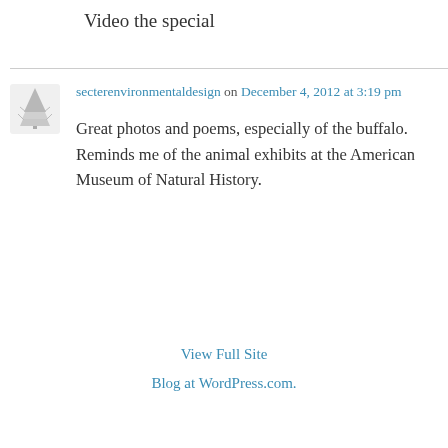Video the special
[Figure (illustration): Small tree/pine avatar icon for user secterenvironmentaldesign]
secterenvironmentaldesign on December 4, 2012 at 3:19 pm
Great photos and poems, especially of the buffalo. Reminds me of the animal exhibits at the American Museum of Natural History.
View Full Site
Blog at WordPress.com.